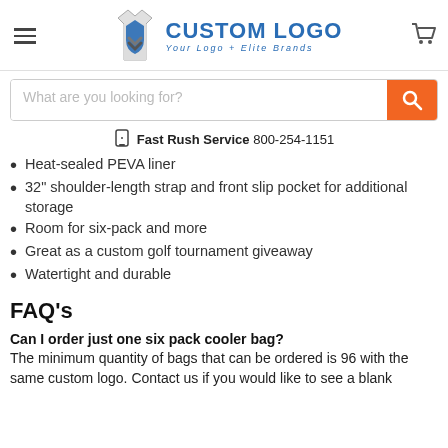[Figure (logo): Custom Logo brand logo with t-shirt graphic and text 'CUSTOM LOGO Your Logo + Elite Brands']
What are you looking for?
Fast Rush Service 800-254-1151
Heat-sealed PEVA liner
32" shoulder-length strap and front slip pocket for additional storage
Room for six-pack and more
Great as a custom golf tournament giveaway
Watertight and durable
FAQ's
Can I order just one six pack cooler bag?
The minimum quantity of bags that can be ordered is 96 with the same custom logo. Contact us if you would like to see a blank